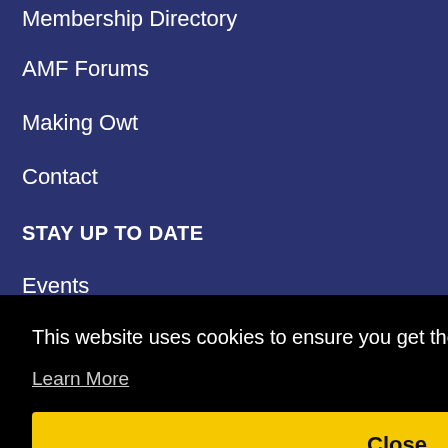Membership Directory
AMF Forums
Making Owt
Contact
STAY UP TO DATE
Events
News
This website uses cookies to ensure you get the best experience on our website.
Learn More
Close